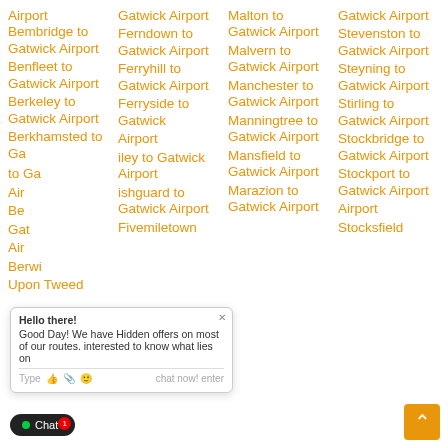Airport Bembridge to Gatwick Airport
Benfleet to Gatwick Airport
Berkeley to Gatwick Airport
Berkhamsted to Gatwick Airport
Berwick-Upon Tweed
Gatwick Airport Ferndown to Gatwick Airport
Ferryhill to Gatwick Airport
Ferryside to Gatwick Airport
Finley to Gatwick Airport
Fishguard to Gatwick Airport
Fivemiletown
Malton to Gatwick Airport
Malvern to Gatwick Airport
Manchester to Gatwick Airport
Manningtree to Gatwick Airport
Mansfield to Gatwick Airport
Marazion to Gatwick Airport
Gatwick Airport Stevenston to Gatwick Airport
Steyning to Gatwick Airport
Stirling to Gatwick Airport
Stockbridge to Gatwick Airport
Stockport to Gatwick Airport
Stocksfield